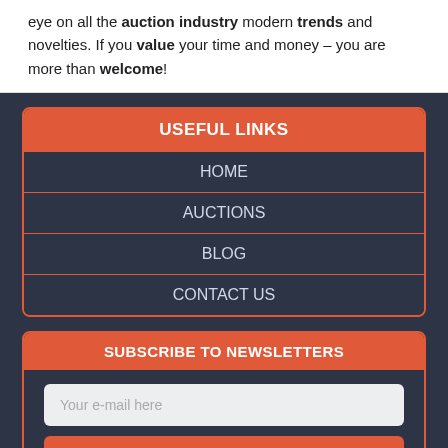eye on all the auction industry modern trends and novelties. If you value your time and money – you are more than welcome!
USEFUL LINKS
HOME
AUCTIONS
BLOG
CONTACT US
SUBSCRIBE TO NEWSLETTERS
Your e-mail here
SUBSCRIBE